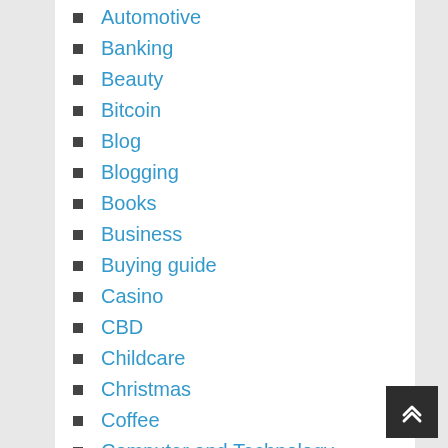Automotive
Banking
Beauty
Bitcoin
Blog
Blogging
Books
Business
Buying guide
Casino
CBD
Childcare
Christmas
Coffee
Computer and Technology